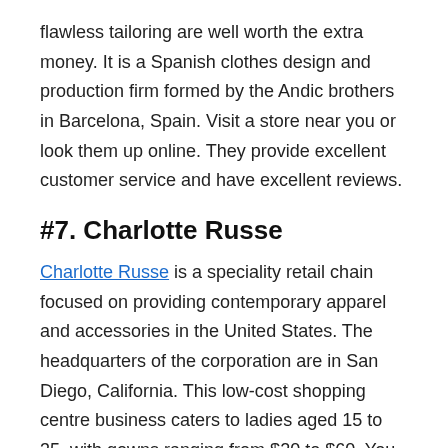flawless tailoring are well worth the extra money. It is a Spanish clothes design and production firm formed by the Andic brothers in Barcelona, Spain. Visit a store near you or look them up online. They provide excellent customer service and have excellent reviews.
#7. Charlotte Russe
Charlotte Russe is a speciality retail chain focused on providing contemporary apparel and accessories in the United States. The headquarters of the corporation are in San Diego, California. This low-cost shopping centre business caters to ladies aged 15 to 35, with gowns ranging from $20 to $60. You may visit their website by following the link we've provided. They have good internet reviews and provide excellent customer service. You will